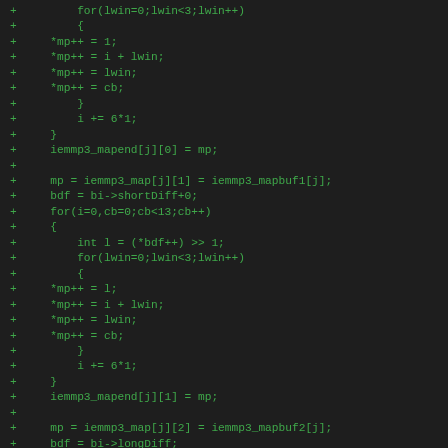Code diff showing added lines of C code for iemmp3 map buffer initialization